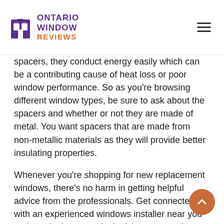ONTARIO WINDOW REVIEWS
spacers, they conduct energy easily which can be a contributing cause of heat loss or poor window performance. So as you're browsing different window types, be sure to ask about the spacers and whether or not they are made of metal. You want spacers that are made from non-metallic materials as they will provide better insulating properties.
Whenever you're shopping for new replacement windows, there's no harm in getting helpful advice from the professionals. Get connected with an experienced windows installer near you and get the best practical advice on your door and window replacement project. If you're toggling between the idea of installing your new windows as a DIY weekend project or getting a